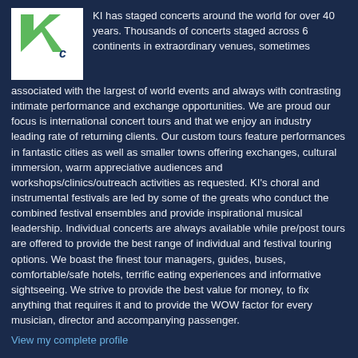[Figure (logo): KI logo — green angular K shape on white background with small 'c' subscript]
KI has staged concerts around the world for over 40 years. Thousands of concerts staged across 6 continents in extraordinary venues, sometimes associated with the largest of world events and always with contrasting intimate performance and exchange opportunities. We are proud our focus is international concert tours and that we enjoy an industry leading rate of returning clients. Our custom tours feature performances in fantastic cities as well as smaller towns offering exchanges, cultural immersion, warm appreciative audiences and workshops/clinics/outreach activities as requested. KI's choral and instrumental festivals are led by some of the greats who conduct the combined festival ensembles and provide inspirational musical leadership. Individual concerts are always available while pre/post tours are offered to provide the best range of individual and festival touring options. We boast the finest tour managers, guides, buses, comfortable/safe hotels, terrific eating experiences and informative sightseeing. We strive to provide the best value for money, to fix anything that requires it and to provide the WOW factor for every musician, director and accompanying passenger.
View my complete profile